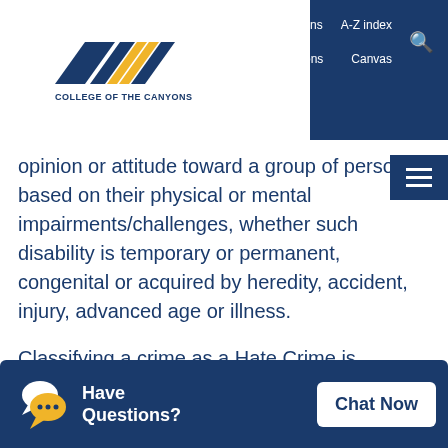[Figure (logo): College of the Canyons logo with diagonal stripe design and text 'COLLEGE OF THE CANYONS']
Ask Canyons   A-Z index   My Canyons   Canvas
opinion or attitude toward a group of persons based on their physical or mental impairments/challenges, whether such disability is temporary or permanent, congenital or acquired by heredity, accident, injury, advanced age or illness.
Classifying a crime as a Hate Crime is sometimes difficult. The Clery Act regulations require institutions to classify hate crimes according to the FBI's Uniform Crime Reporting Hate Crime 28 Data Collection Guidelines and Training Gui... The... tho...